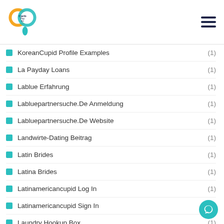Carib Pay App
KoreanCupid Profile Examples (1)
La Payday Loans (1)
Lablue Erfahrung (1)
Labluepartnersuche.De Anmeldung (1)
Labluepartnersuche.De Website (1)
Landwirte-Dating Beitrag (1)
Latin Brides (1)
Latina Brides (1)
Latinamericancupid Log In (1)
Latinamericancupid Sign In (1)
Laundry Hookup Box (1)